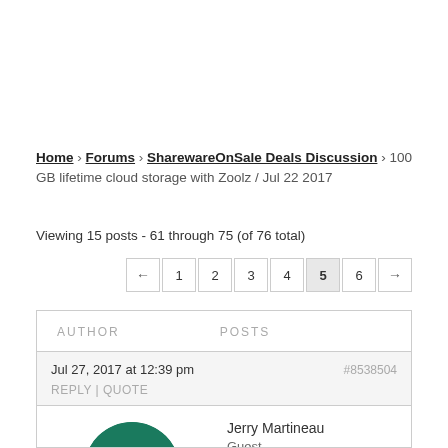Home › Forums › SharewareOnSale Deals Discussion › 100 GB lifetime cloud storage with Zoolz / Jul 22 2017
Viewing 15 posts - 61 through 75 (of 76 total)
| AUTHOR | POSTS |
| --- | --- |
| Jul 27, 2017 at 12:39 pm  #8538504  REPLY | QUOTE | Jerry Martineau
Guest |
[Figure (illustration): Green circular avatar with a SharewareOnSale logo icon in pink/mauve]